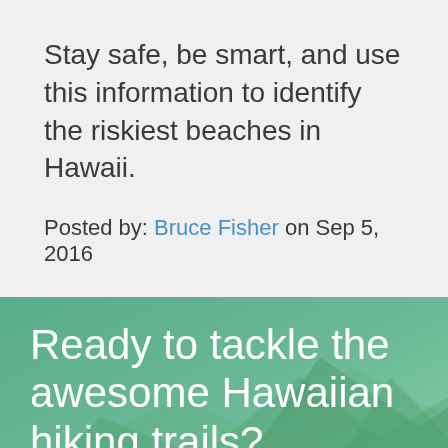Stay safe, be smart, and use this information to identify the riskiest beaches in Hawaii.
Posted by: Bruce Fisher on Sep 5, 2016
[Figure (photo): Green mountain/hills background with overlaid text banner for Hawaiian hiking trails promotional section]
Ready to tackle the awesome Hawaiian hiking trails?
We are the experts on Hawaii Travel and we are happy to help you with All Inclusive Packages or Hotels, Activities, Food, Airfare, and more!